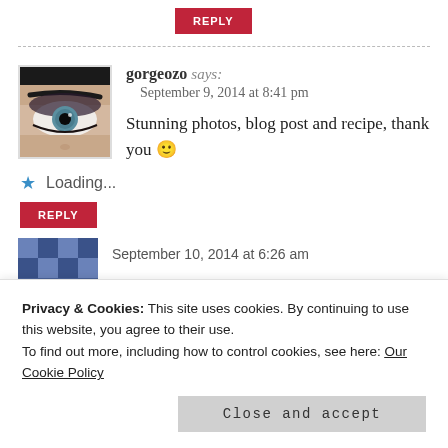REPLY
[Figure (photo): Close-up photo of a person's eye with heavy eye makeup, showing one eye with blue iris and dark eye shadow]
gorgeozo says:
September 9, 2014 at 8:41 pm
Stunning photos, blog post and recipe, thank you 🙂
Loading...
REPLY
Privacy & Cookies: This site uses cookies. By continuing to use this website, you agree to their use. To find out more, including how to control cookies, see here: Our Cookie Policy
Close and accept
September 10, 2014 at 6:26 am